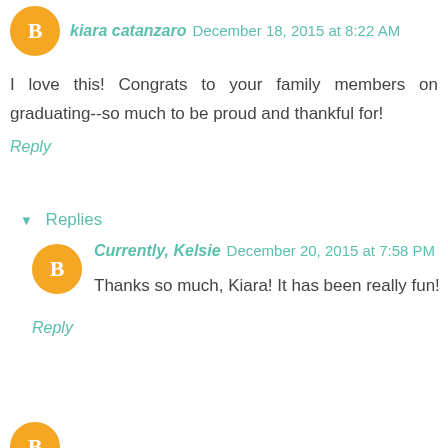kiara catanzaro December 18, 2015 at 8:22 AM
I love this! Congrats to your family members on graduating--so much to be proud and thankful for!
Reply
▾ Replies
Currently, Kelsie December 20, 2015 at 7:58 PM
Thanks so much, Kiara! It has been really fun!
Reply